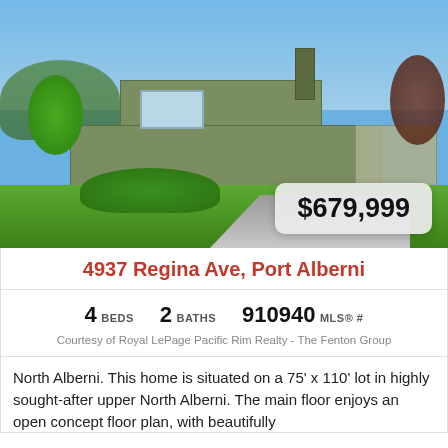[Figure (photo): Exterior photo of a green single-story home with carport, large front lawn, trees, and paved driveway under blue sky. Price badge showing $679,999 in lower right corner.]
4937 Regina Ave, Port Alberni
4 BEDS   2 BATHS   910940 MLS® #
Courtesy of Royal LePage Pacific Rim Realty - The Fenton Group
North Alberni. This home is situated on a 75' x 110' lot in highly sought-after upper North Alberni. The main floor enjoys an open concept floor plan, with beautifully